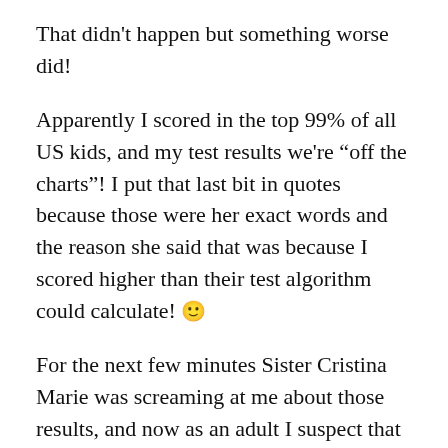That didn't happen but something worse did!
Apparently I scored in the top 99% of all US kids, and my test results we're “off the charts”! I put that last bit in quotes because those were her exact words and the reason she said that was because I scored higher than their test algorithm could calculate! 🙂
For the next few minutes Sister Cristina Marie was screaming at me about those results, and now as an adult I suspect that she was just so aggravated with me that I had this potential but was such a lousy student! 🙂
Back to the worst part! Unfortunately one of